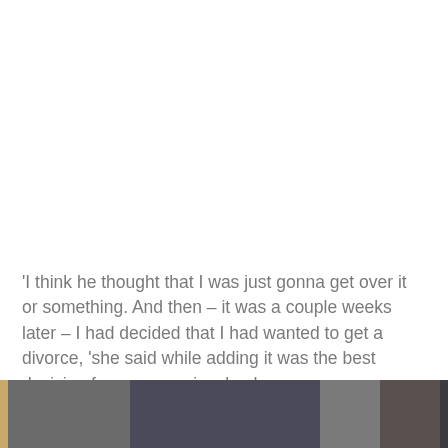'I think he thought that I was just gonna get over it or something. And then – it was a couple weeks later – I had decided that I had wanted to get a divorce, 'she said while adding it was the best decision for everyone involved.
[Figure (photo): A partial photo strip at the bottom of the page showing what appears to be a person, partially cropped]